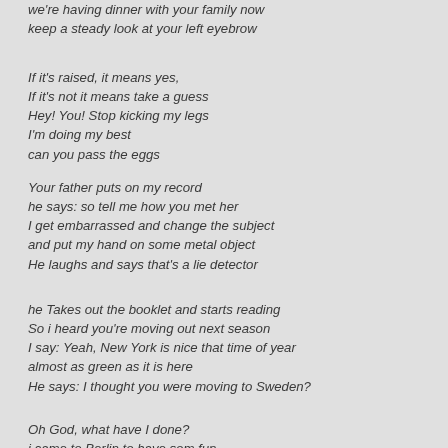we're having dinner with your family now
keep a steady look at your left eyebrow
If it's raised, it means yes,
If it's not it means take a guess
Hey! You! Stop kicking my legs
I'm doing my best
can you pass the eggs
Your father puts on my record
he says: so tell me how you met her
I get embarrassed and change the subject
and put my hand on some metal object
He laughs and says that's a lie detector
he Takes out the booklet and starts reading
So i heard you're moving out next season
I say: Yeah, New York is nice that time of year
almost as green as it is here
He says: I thought you were moving to Sweden?
Oh God, what have I done?
i came to Berlin to have som fun